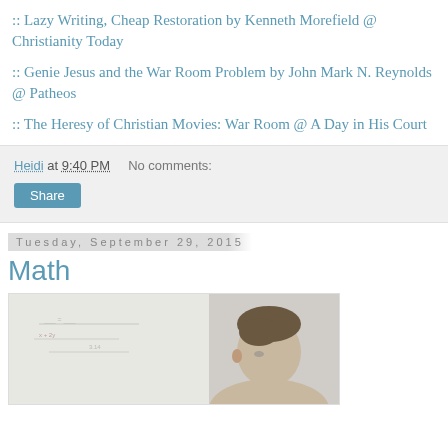:: Lazy Writing, Cheap Restoration by Kenneth Morefield @ Christianity Today
:: Genie Jesus and the War Room Problem by John Mark N. Reynolds @ Patheos
:: The Heresy of Christian Movies: War Room @ A Day in His Court
Heidi at 9:40 PM   No comments:
Share
Tuesday, September 29, 2015
Math
[Figure (photo): A young boy looking down at a whiteboard or paper with math work on it]